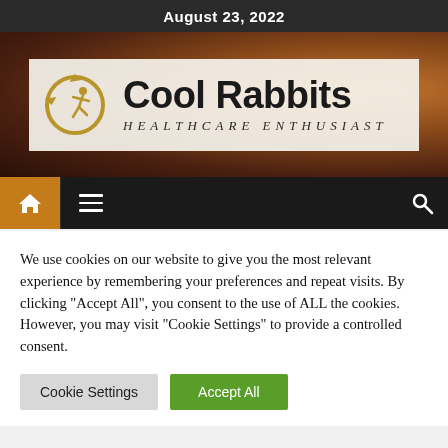August 23, 2022
[Figure (logo): Cool Rabbits Healthcare Enthusiast logo with circular running figure icon and banner area with rabbit background]
[Figure (screenshot): Navigation bar with home icon (orange background), hamburger menu icon, and search icon on dark background]
We use cookies on our website to give you the most relevant experience by remembering your preferences and repeat visits. By clicking "Accept All", you consent to the use of ALL the cookies. However, you may visit "Cookie Settings" to provide a controlled consent.
Cookie Settings | Accept All